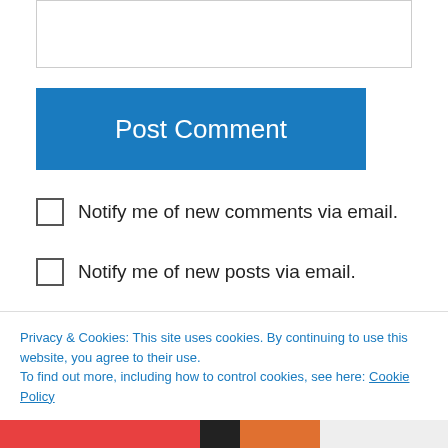[Figure (screenshot): Text area input box (empty)]
Post Comment
Notify me of new comments via email.
Notify me of new posts via email.
william on July 14, 2013 at 2:38 pm
Looking for ahead to reading extra from you in a
Privacy & Cookies: This site uses cookies. By continuing to use this website, you agree to their use.
To find out more, including how to control cookies, see here: Cookie Policy
Close and accept